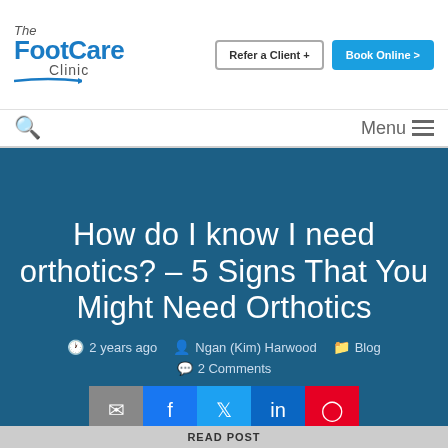[Figure (logo): The FootCare Clinic logo with blue text and decorative line]
Refer a Client +
Book Online >
Menu
How do I know I need orthotics? – 5 Signs That You Might Need Orthotics
2 years ago  Ngan (Kim) Harwood  Blog  2 Comments